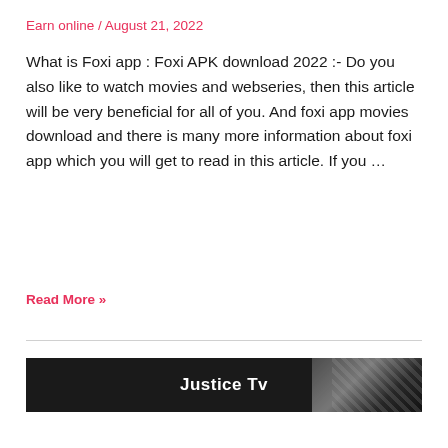Earn online / August 21, 2022
What is Foxi app : Foxi APK download 2022 :- Do you also like to watch movies and webseries, then this article will be very beneficial for all of you. And foxi app movies download and there is many more information about foxi app which you will get to read in this article. If you ...
Read More »
[Figure (illustration): Dark banner image with text 'Justice Tv' in white bold font, with diagonal stripe texture on the right side]